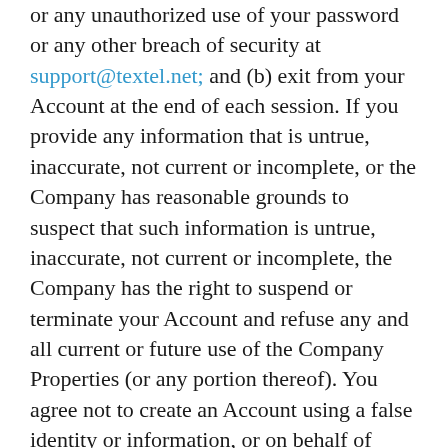or any unauthorized use of your password or any other breach of security at support@textel.net; and (b) exit from your Account at the end of each session. If you provide any information that is untrue, inaccurate, not current or incomplete, or the Company has reasonable grounds to suspect that such information is untrue, inaccurate, not current or incomplete, the Company has the right to suspend or terminate your Account and refuse any and all current or future use of the Company Properties (or any portion thereof). You agree not to create an Account using a false identity or information, or on behalf of someone other than yourself. You agree not to create an Account or use the Company Properties if you have been previously removed by the Company, or if you have